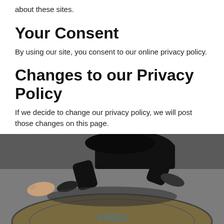about these sites.
Your Consent
By using our site, you consent to our online privacy policy.
Changes to our Privacy Policy
If we decide to change our privacy policy, we will post those changes on this page.
[Figure (photo): A person performing a breakdance move on a circular floor design, shot from above showing legs and feet, dark silhouette against concrete floor with circular emblem]